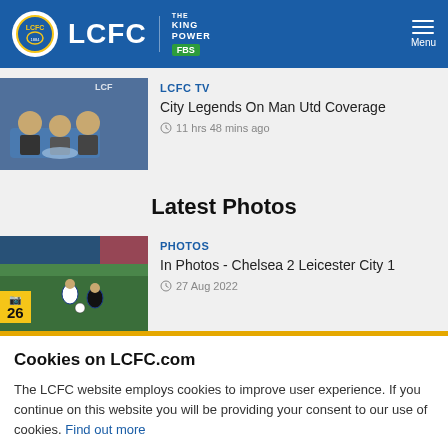LCFC | KING POWER | FBS | Menu
[Figure (screenshot): Three men in a TV studio set with LCFC branding]
LCFC TV
City Legends On Man Utd Coverage
11 hrs 48 mins ago
Latest Photos
[Figure (photo): Football action shot Chelsea vs Leicester City with photo count badge showing 26]
PHOTOS
In Photos - Chelsea 2 Leicester City 1
27 Aug 2022
Cookies on LCFC.com
The LCFC website employs cookies to improve user experience. If you continue on this website you will be providing your consent to our use of cookies. Find out more
CONTINUE →